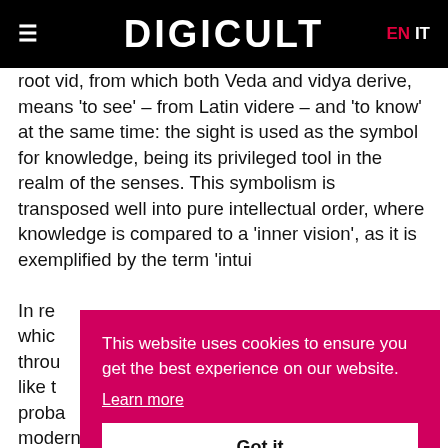DIGICULT  EN  IT
root vid, from which both Veda and vidya derive, means 'to see' – from Latin videre – and 'to know' at the same time: the sight is used as the symbol for knowledge, being its privileged tool in the realm of the senses. This symbolism is transposed well into pure intellectual order, where knowledge is compared to a 'inner vision', as it is exemplified by the term 'intui…
In re… whic… throu… like t… proba… modern times. A city dweller has no connection with
This website uses cookies to ensure you get the best experience on our website. Learn more Got it